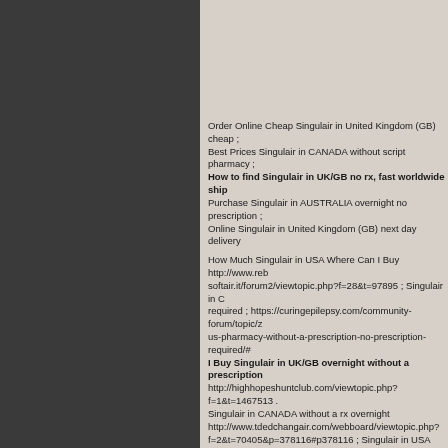Order Online Cheap Singulair in United Kingdom (GB) cheap ; Best Prices Singulair in CANADA without script pharmacy ; How to find Singulair in UK/GB no rx, fast worldwide ship ; Purchase Singulair in AUSTRALIA overnight no prescription ; Online Singulair in United Kingdom (GB) next day delivery
How Much Singulair in USA Where Can I Buy http://www.reb softair.it/forum2/viewtopic.php?f=28&t=97895 ; Singulair in C required ; https://curingepilepsy.com/community-forum/topic/z us-pharmacy-without-a-prescription-no-prescription-required/# I Buy Singulair in UK/GB overnight without a prescription http://highhopeshuntclub.com/viewtopic.php?f=1&t=1467513 Singulair in CANADA without a rx overnight http://www.tdedchangair.com/webboard/viewtopic.php? f=2&t=70405&p=378116#p378116 ; Singulair in USA c.o.d. n Singulair - http://www.crusaders-cagliari.it/forum/welcome-ma professional-united-states-us-non-prescription-no-script-next-d delivery.html#344680 | Low Price Singulair - http://www.crusa cagliari.it/forum/welcome-mat/338918-prilosec-in-canada-no-s overnight-no-prescription-quick-delivery.html#341363 |Order C Singulair - http://www.crusaders-cagliari.it/forum/welcome-ma australia-no-prescription-quick-delivery-free-worldwide-shippi Want To Buy Singulair - http://www.crusaders-cagliari.it/forum mat/340155-neurontin-in-canada-without-script-from-approve pharmacy.html#342600 |Buy Singulair - http://www.brooksthemanbrown.brooksbrown.com/friendsofen f=2&t=417661 |Generic Drugs Singulair - http://www.tdedchangair.com/webboard/viewtopic.php?f=2&t= Lowest Price Singulair - https://www.phantomconnections.space/phpBB3/viewtopic.ph |Cheap Singulair - http://tablarocasoluciones.mex.tl/index.php | Singulair - http://www.brooksthemanbrown.brooksbrown.com/friendsofe